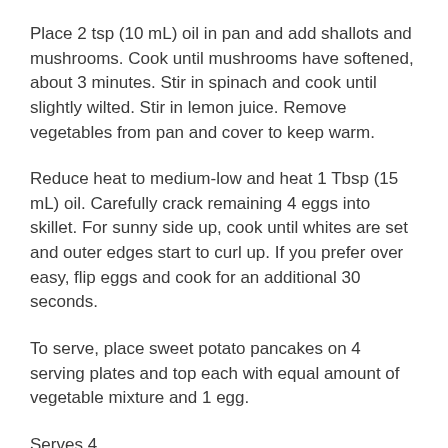Place 2 tsp (10 mL) oil in pan and add shallots and mushrooms. Cook until mushrooms have softened, about 3 minutes. Stir in spinach and cook until slightly wilted. Stir in lemon juice. Remove vegetables from pan and cover to keep warm.
Reduce heat to medium-low and heat 1 Tbsp (15 mL) oil. Carefully crack remaining 4 eggs into skillet. For sunny side up, cook until whites are set and outer edges start to curl up. If you prefer over easy, flip eggs and cook for an additional 30 seconds.
To serve, place sweet potato pancakes on 4 serving plates and top each with equal amount of vegetable mixture and 1 egg.
Serves 4.
Each serving contains: 241 calories; 13 g protein; 17 g total fat (3 g sat. fat, 0 g trans fat); 11 g total carbohydrates (3 g sugars, 2 g fibre); 295 mg sodium